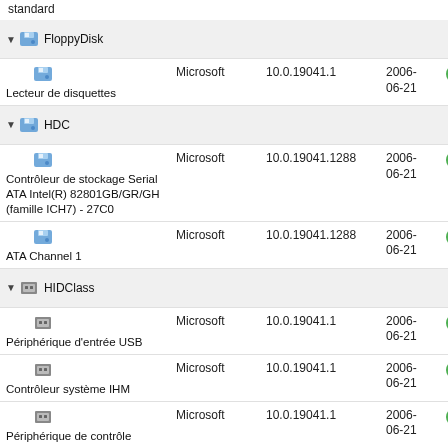standard
FloppyDisk (group header)
Lecteur de disquettes | Microsoft | 10.0.19041.1 | 2006-06-21 | OK
HDC (group header)
Contrôleur de stockage Serial ATA Intel(R) 82801GB/GR/GH (famille ICH7) - 27C0 | Microsoft | 10.0.19041.1288 | 2006-06-21 | OK
ATA Channel 1 | Microsoft | 10.0.19041.1288 | 2006-06-21 | OK
HIDClass (group header)
Périphérique d'entrée USB | Microsoft | 10.0.19041.1 | 2006-06-21 | OK
Contrôleur système IHM | Microsoft | 10.0.19041.1 | 2006-06-21 | OK
Périphérique de contrôle | Microsoft | 10.0.19041.1 | 2006-06-21 | OK